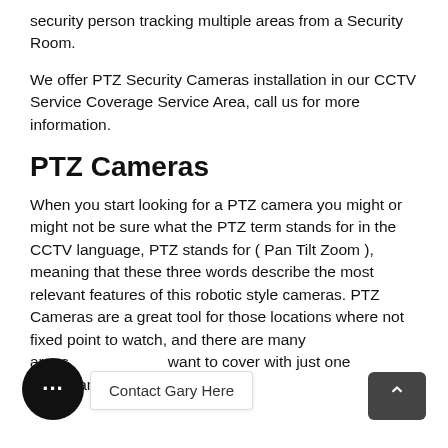security person tracking multiple areas from a Security Room.
We offer PTZ Security Cameras installation in our CCTV Service Coverage Service Area, call us for more information.
PTZ Cameras
When you start looking for a PTZ camera you might or might not be sure what the PTZ term stands for in the CCTV language, PTZ stands for ( Pan Tilt Zoom ), meaning that these three words describe the most relevant features of this robotic style cameras. PTZ Cameras are a great tool for those locations where not fixed point to watch, and there are many areas that you want to cover with just one surveillance camera.